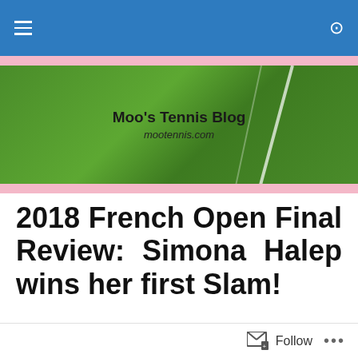Moo's Tennis Blog navigation bar
[Figure (photo): Tennis blog header banner with green grass court background, white court lines, blog name 'Moo's Tennis Blog' and URL 'mootennis.com']
2018 French Open Final Review: Simona Halep wins her first Slam!
Posted by James
[Figure (photo): Partial green grass tennis court image at bottom of page]
Follow ...